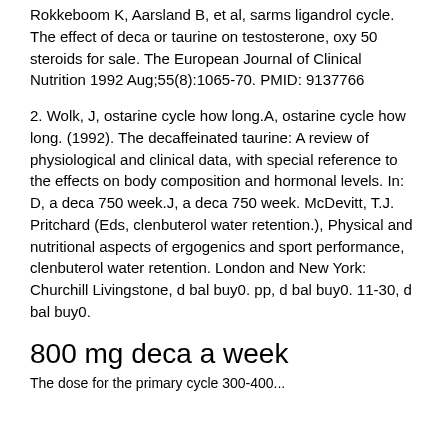Rokkeboom K, Aarsland B, et al, sarms ligandrol cycle. The effect of deca or taurine on testosterone, oxy 50 steroids for sale. The European Journal of Clinical Nutrition 1992 Aug;55(8):1065-70. PMID: 9137766
2. Wolk, J, ostarine cycle how long.A, ostarine cycle how long. (1992). The decaffeinated taurine: A review of physiological and clinical data, with special reference to the effects on body composition and hormonal levels. In: D, a deca 750 week.J, a deca 750 week. McDevitt, T.J. Pritchard (Eds, clenbuterol water retention.), Physical and nutritional aspects of ergogenics and sport performance, clenbuterol water retention. London and New York: Churchill Livingstone, d bal buy0. pp, d bal buy0. 11-30, d bal buy0.
800 mg deca a week
The dose for the primary cycle 300-400...